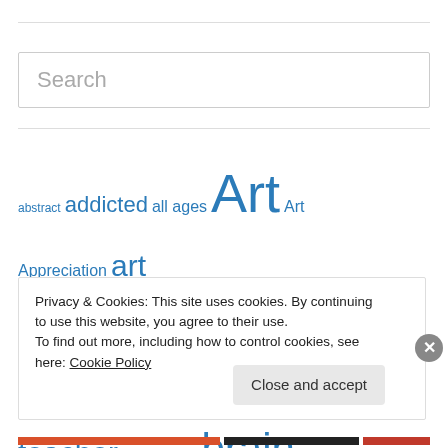Search
abstract addicted all ages Art Art Appreciation art class Art Education artist artists arts and crafts art student art teacher artwork Blue brain teaser Children Christmas color Color by Number ...
Privacy & Cookies: This site uses cookies. By continuing to use this website, you agree to their use.
To find out more, including how to control cookies, see here: Cookie Policy
Close and accept